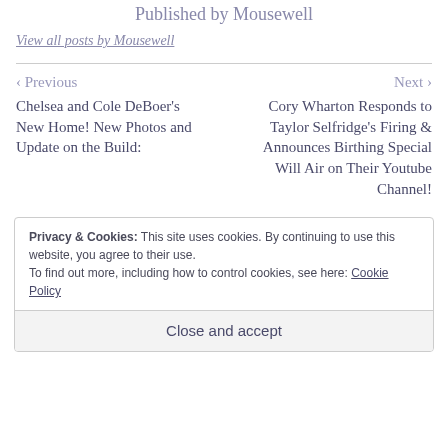Published by Mousewell
View all posts by Mousewell
< Previous
Chelsea and Cole DeBoer's New Home! New Photos and Update on the Build:
Next >
Cory Wharton Responds to Taylor Selfridge's Firing & Announces Birthing Special Will Air on Their Youtube Channel!
Privacy & Cookies: This site uses cookies. By continuing to use this website, you agree to their use.
To find out more, including how to control cookies, see here: Cookie Policy
Close and accept